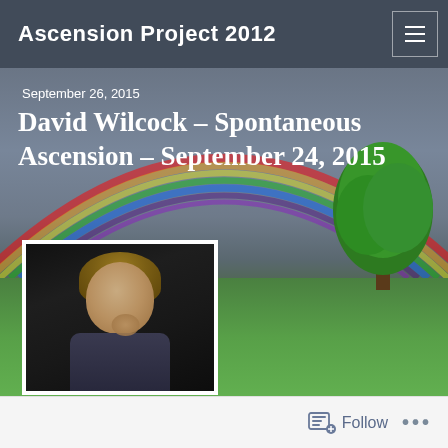Ascension Project 2012
September 26, 2015
David Wilcock – Spontaneous Ascension – September 24, 2015
[Figure (photo): Portrait photo of David Wilcock, a man with medium-length blonde hair, wearing a dark shirt, hand near chin in a thoughtful pose, against a dark background]
Follow ...